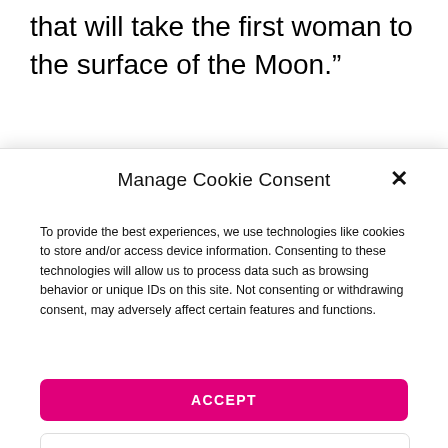that will take the first woman to the surface of the Moon.”
Manage Cookie Consent
To provide the best experiences, we use technologies like cookies to store and/or access device information. Consenting to these technologies will allow us to process data such as browsing behavior or unique IDs on this site. Not consenting or withdrawing consent, may adversely affect certain features and functions.
ACCEPT
DENY
VIEW PREFERENCES
Terms & Conditions